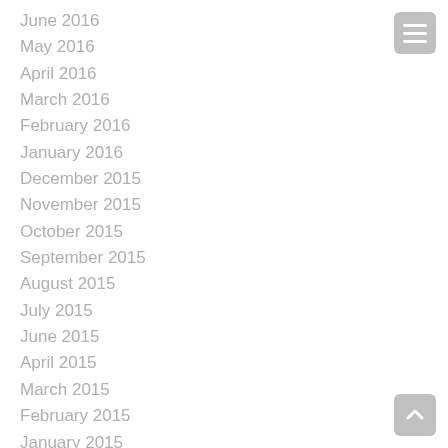June 2016
May 2016
April 2016
March 2016
February 2016
January 2016
December 2015
November 2015
October 2015
September 2015
August 2015
July 2015
June 2015
April 2015
March 2015
February 2015
January 2015
December 2014
[Figure (other): Hamburger menu button (three horizontal lines) in grey rounded square, top right]
[Figure (other): Scroll to top button (upward arrow) in grey rounded square, bottom right]